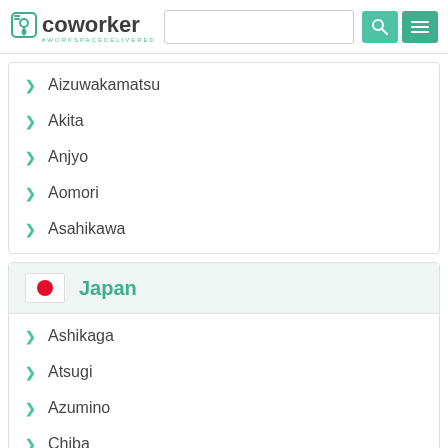coworker — navigation header with search bar
Aizuwakamatsu
Akita
Anjyo
Aomori
Asahikawa
Japan
Ashikaga
Atsugi
Azumino
Chiba
Ebina
Fukui